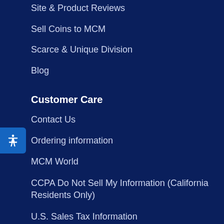Site & Product Reviews
Sell Coins to MCM
Scarce & Unique Division
Blog
Customer Care
Contact Us
Ordering information
MCM World
CCPA Do Not Sell My Information (California Residents Only)
U.S. Sales Tax Information
CA Transparency in Supply Chains
FAQ
Policies